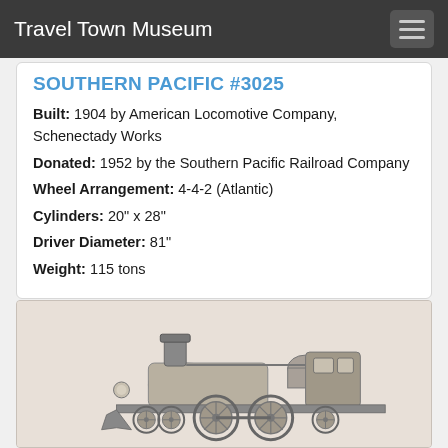Travel Town Museum
SOUTHERN PACIFIC #3025
Built: 1904 by American Locomotive Company, Schenectady Works
Donated: 1952 by the Southern Pacific Railroad Company
Wheel Arrangement: 4-4-2 (Atlantic)
Cylinders: 20" x 28"
Driver Diameter: 81"
Weight: 115 tons
[Figure (photo): Historical black and white photograph of Southern Pacific locomotive #3025, showing the steam engine from a side/front angle with visible smokestack, boiler, and wheels on a light beige background.]